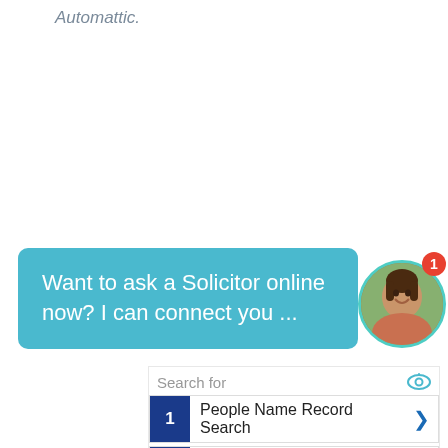Automattic.
[Figure (screenshot): Chat bubble widget in teal/cyan color with text 'Want to ask a Solicitor online now? I can connect you ...' and a circular avatar photo of a woman with a red notification badge showing '1']
[Figure (screenshot): Search widget with 'Search for' header and eye icon, two rows: 1. People Name Record Search, 2. Online Police Reports, each with blue number squares and chevron arrows, and a send icon at the bottom right]